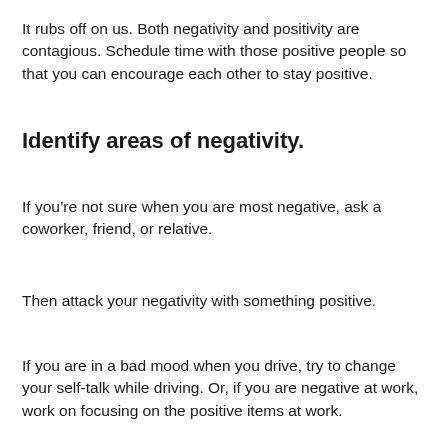It rubs off on us. Both negativity and positivity are contagious. Schedule time with those positive people so that you can encourage each other to stay positive.
Identify areas of negativity.
If you’re not sure when you are most negative, ask a coworker, friend, or relative.
Then attack your negativity with something positive.
If you are in a bad mood when you drive, try to change your self-talk while driving. Or, if you are negative at work, work on focusing on the positive items at work.